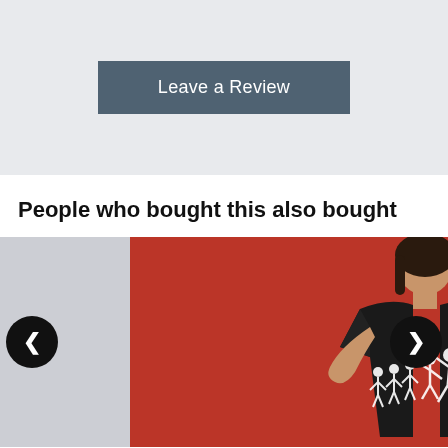Leave a Review
People who bought this also bought
[Figure (photo): Woman wearing a black t-shirt with human evolution graphic, standing in front of a red brick wall with white graffiti. Navigation arrows on left and right for a product carousel.]